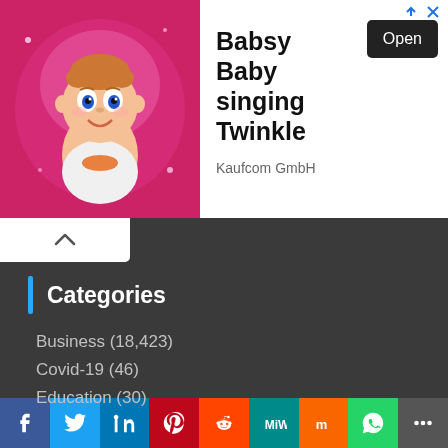[Figure (screenshot): Advertisement banner for 'Babsy Baby singing Twinkle' by Kaufcom GmbH, showing a cartoon baby with pink background, an Open button, and ad icons.]
Categories
Business (18,423)
Covid-19 (46)
Education (30)
Entertainment (5,542)
Family Health (592)
Fashion (6,153)
Game (8,095)
Health (4,442)
NASA News (200)
[Figure (infographic): Social media sharing bar with icons: Facebook, Twitter, LinkedIn, Pinterest, Reddit, MeWe, Mix, WhatsApp, More]